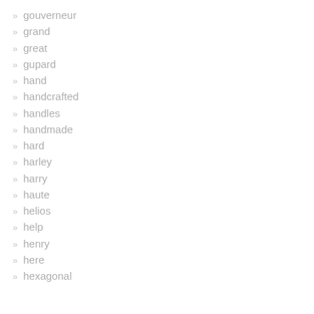gouverneur
grand
great
gupard
hand
handcrafted
handles
handmade
hard
harley
harry
haute
helios
help
henry
here
hexagonal